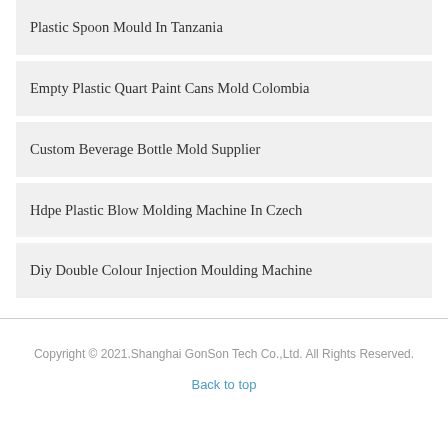Plastic Spoon Mould In Tanzania
Empty Plastic Quart Paint Cans Mold Colombia
Custom Beverage Bottle Mold Supplier
Hdpe Plastic Blow Molding Machine In Czech
Diy Double Colour Injection Moulding Machine
Copyright © 2021.Shanghai GonSon Tech Co.,Ltd. All Rights Reserved.
Back to top